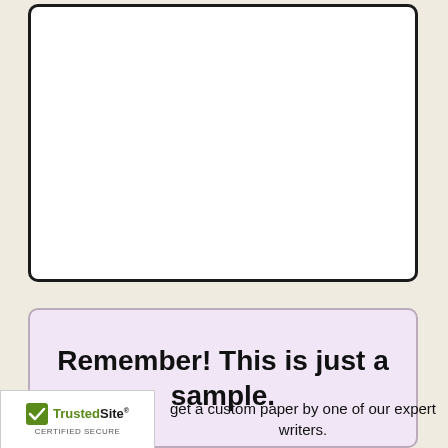[Figure (other): Empty white rectangle with thick black border and rounded corners — placeholder content area]
Remember! This is just a sample.
get a custom paper by one of our expert writers.